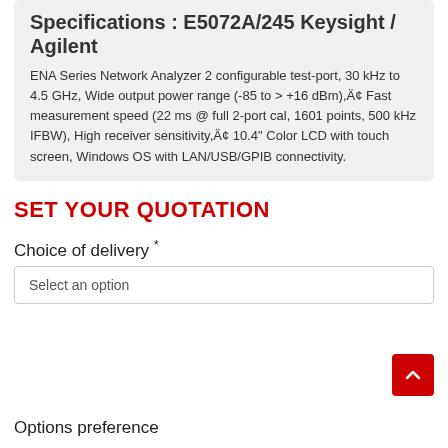Specifications : E5072A/245 Keysight / Agilent
ENA Series Network Analyzer 2 configurable test-port, 30 kHz to 4.5 GHz, Wide output power range (-85 to > +16 dBm),Ä¢ Fast measurement speed (22 ms @ full 2-port cal, 1601 points, 500 kHz IFBW), High receiver sensitivity,Ä¢ 10.4" Color LCD with touch screen, Windows OS with LAN/USB/GPIB connectivity.
SET YOUR QUOTATION
Choice of delivery *
Select an option
Options preference